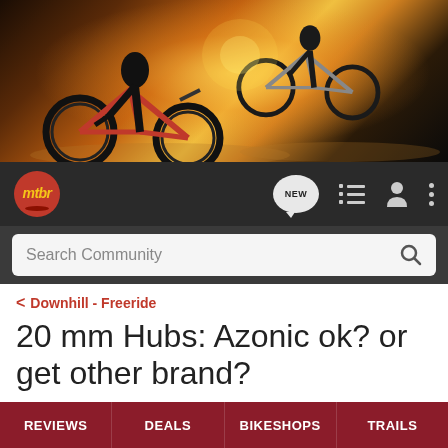[Figure (photo): Mountain biking hero banner showing two cyclists riding on a dirt trail with sunset/sunrise in the background, orange and golden light, dramatic action shot]
mtbr | NEW | Search Community
< Downhill - Freeride
20 mm Hubs: Azonic ok? or get other brand?
→ Jump to Latest   + Follow
REVIEWS   DEALS   BIKESHOPS   TRAILS